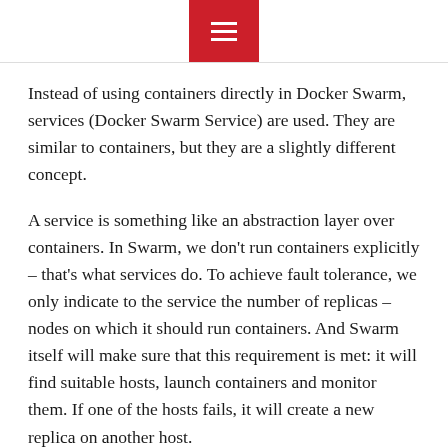≡
Instead of using containers directly in Docker Swarm, services (Docker Swarm Service) are used. They are similar to containers, but they are a slightly different concept.
A service is something like an abstraction layer over containers. In Swarm, we don't run containers explicitly – that's what services do. To achieve fault tolerance, we only indicate to the service the number of replicas – nodes on which it should run containers. And Swarm itself will make sure that this requirement is met: it will find suitable hosts, launch containers and monitor them. If one of the hosts fails, it will create a new replica on another host.
Also Read: Two Non-Obvious Ways to Use Cloud in